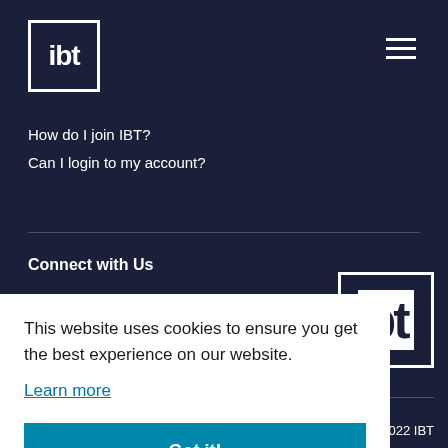[Figure (logo): IBT logo: white box with 'ibt' text in white on dark navy background, top-left]
[Figure (other): Hamburger menu icon (three horizontal lines) top-right]
How do I join IBT?
Can I login to my account?
Connect with Us
[Figure (logo): IBT logo partially visible bottom-right]
This website uses cookies to ensure you get the best experience on our website.
Learn more
Got it!
022 IBT